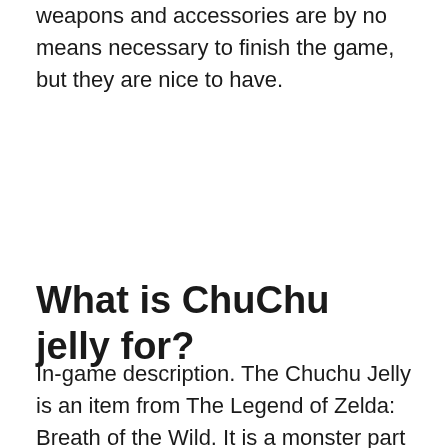weapons and accessories are by no means necessary to finish the game, but they are nice to have.
What is ChuChu jelly for?
In-game description. The Chuchu Jelly is an item from The Legend of Zelda: Breath of the Wild. It is a monster part dropped by Chuchu when killed. Like other monster parts, it can